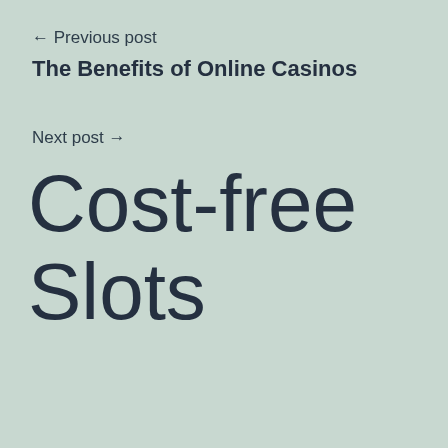← Previous post
The Benefits of Online Casinos
Next post →
Cost-free Slots